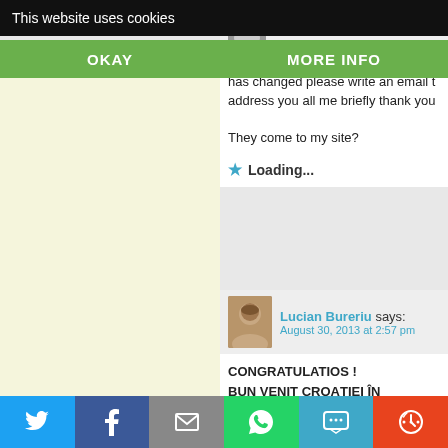This website uses cookies
OKAY
MORE INFO
Andrea Kava:
August 30, 2013 at 2:02 pm
Hello my friends and Wyler students my email has changed please write an email to the new address you all me briefly thank you
They come to my site?
Loading...
Lucian Bureriu says:
August 30, 2013 at 2:57 pm
CONGRATULATIOS !
BUN VENIT CROAȚIEI ÎN UNIUNEA EU
Loading...
Reply